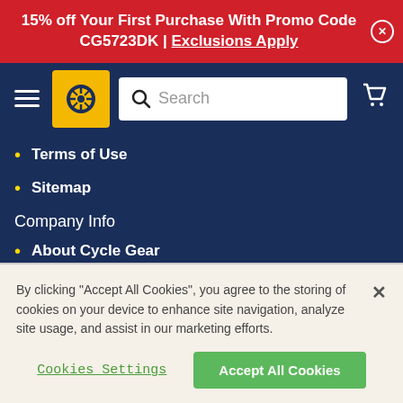15% off Your First Purchase With Promo Code CG5723DK | Exclusions Apply
[Figure (screenshot): Cycle Gear navigation header with hamburger menu, logo, search bar, and cart icon]
Terms of Use
Sitemap
Company Info
About Cycle Gear
Career Opportunities
Charitable Donations
Affiliates and Partnerships
By clicking "Accept All Cookies", you agree to the storing of cookies on your device to enhance site navigation, analyze site usage, and assist in our marketing efforts.
Cookies Settings | Accept All Cookies